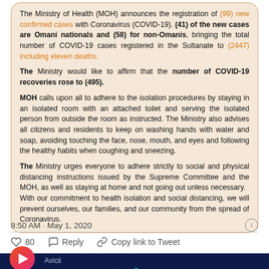The Ministry of Health (MOH) announces the registration of (99) new confirmed cases with Coronavirus (COVID-19). (41) of the new cases are Omani nationals and (58) for non-Omanis, bringing the total number of COVID-19 cases registered in the Sultanate to (2447) including eleven deaths.
The Ministry would like to affirm that the number of COVID-19 recoveries rose to (495).
MOH calls upon all to adhere to the isolation procedures by staying in an isolated room with an attached toilet and serving the isolated person from outside the room as instructed. The Ministry also advises all citizens and residents to keep on washing hands with water and soap, avoiding touching the face, nose, mouth, and eyes and following the healthy habits when coughing and sneezing.
The Ministry urges everyone to adhere strictly to social and physical distancing instructions issued by the Supreme Committee and the MOH, as well as staying at home and not going out unless necessary. With our commitment to health isolation and social distancing, we will prevent ourselves, our families, and our community from the spread of Coronavirus.
8:50 AM · May 1, 2020
80  Reply  Copy link to Tweet
[Figure (screenshot): Music player bar showing 'WAKE ME UP' by Avicii with play button, timestamp 00:00, infinity symbol, Vote button, and audio/share controls on dark navy background]